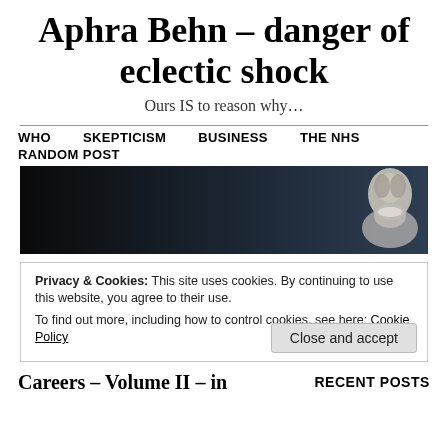Aphra Behn – danger of eclectic shock
Ours IS to reason why…
WHO   SKEPTICISM   BUSINESS   THE NHS   RANDOM POST
[Figure (illustration): Dark banner image with a portrait of a woman (Aphra Behn) on the right side, dark gradient background fading from black on the left to dark grey-blue on the right.]
Privacy & Cookies: This site uses cookies. By continuing to use this website, you agree to their use.
To find out more, including how to control cookies, see here: Cookie Policy
Close and accept
Careers – Volume II – in
RECENT POSTS